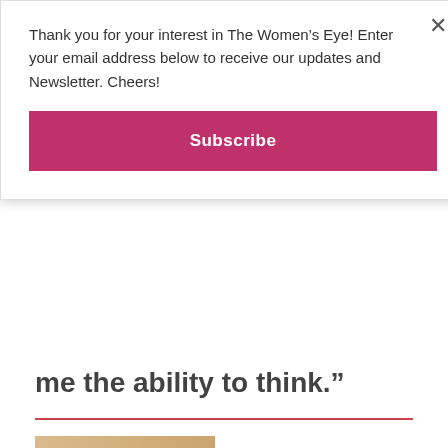Thank you for your interest in The Women's Eye! Enter your email address below to receive our updates and Newsletter. Cheers!
Subscribe
me the ability to think.”
[Figure (photo): Portrait photo of a woman with a shaved head wearing a blue halter top and hoop earrings]